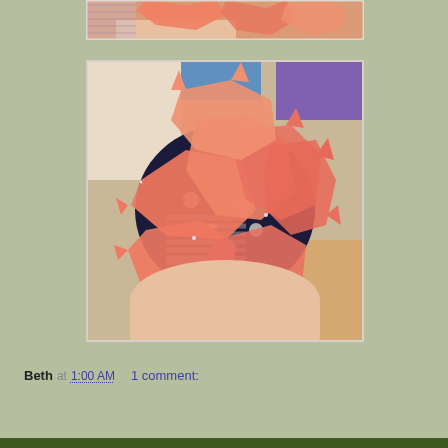[Figure (photo): Partial view of fabric pieces, cropped at top, showing salmon/coral colored fabric and striped fabric pieces being held in hands, cut off at top edge]
[Figure (photo): A hand holding a bunch of coral/salmon pink fabric pieces along with navy blue black and white floral and striped fabric pieces, appearing to be quilting scraps or sewn fabric pieces, with a sewing workspace visible in the background]
Beth at 1:00 AM    1 comment: